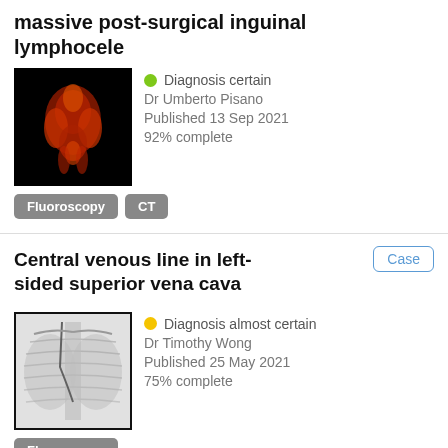massive post-surgical inguinal lymphocele
[Figure (photo): CT/3D rendering image showing pelvic anatomy in red/orange on black background]
Diagnosis certain
Dr Umberto Pisano
Published 13 Sep 2021
92% complete
Fluoroscopy
CT
Central venous line in left-sided superior vena cava
[Figure (photo): Chest X-ray showing central venous line in left-sided superior vena cava]
Diagnosis almost certain
Dr Timothy Wong
Published 25 May 2021
75% complete
Fluoroscopy